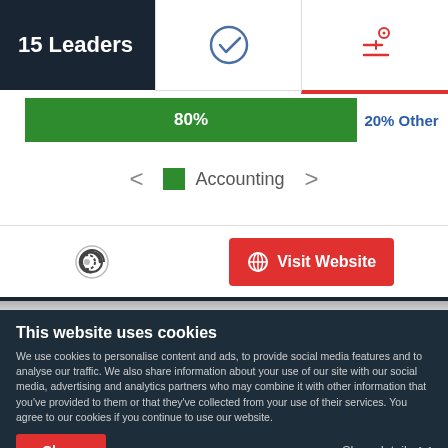15 Leaders
[Figure (infographic): UI screenshot showing a progress bar with 80% green section labeled '80%' and remaining '20% Other' in blue text, navigation arrows, Accounting legend, a Clearbit logo icon, and a red Visit Website button]
This website uses cookies
We use cookies to personalise content and ads, to provide social media features and to analyse our traffic. We also share information about your use of our site with our social media, advertising and analytics partners who may combine it with other information that you've provided to them or that they've collected from your use of their services. You agree to our cookies if you continue to use our website.
Close
Show details